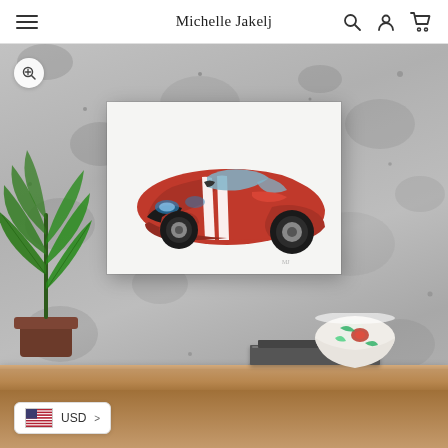Michelle Jakelj
[Figure (screenshot): E-commerce product page screenshot showing a red Ford GT supercar illustration/drawing displayed as artwork on a concrete wall above a wooden shelf, with a plant on the left and a floral bowl on the shelf. Navigation bar at top reads 'Michelle Jakelj' with hamburger menu, search, account, and cart icons. USD currency selector at bottom left.]